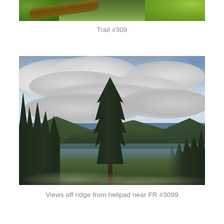[Figure (photo): Partial view of a fallen log and green foliage/leaves, cropped at top of page]
Trail #309
[Figure (photo): Scenic mountain vista taken from a ridge near a helipad; tall conifer tree in center foreground, dark forested mountains in background, overcast cloudy sky, green brush and wildflowers in lower foreground]
Views off ridge from helipad near FR #3099